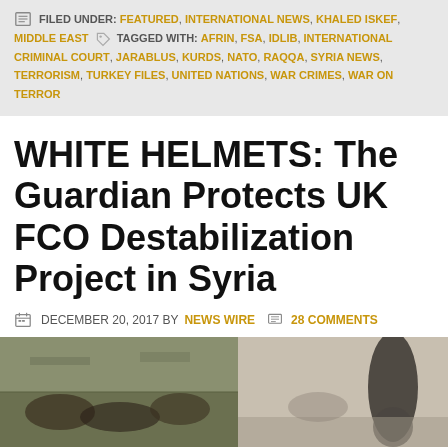FILED UNDER: FEATURED, INTERNATIONAL NEWS, KHALED ISKEF, MIDDLE EAST  TAGGED WITH: AFRIN, FSA, IDLIB, INTERNATIONAL CRIMINAL COURT, JARABLUS, KURDS, NATO, RAQQA, SYRIA NEWS, TERRORISM, TURKEY FILES, UNITED NATIONS, WAR CRIMES, WAR ON TERROR
WHITE HELMETS: The Guardian Protects UK FCO Destabilization Project in Syria
DECEMBER 20, 2017 BY NEWS WIRE  28 COMMENTS
[Figure (photo): Two side-by-side images: left shows people lying on the ground outdoors in a conflict zone scene; right shows a person standing viewed from behind in a misty/dusty outdoor setting.]